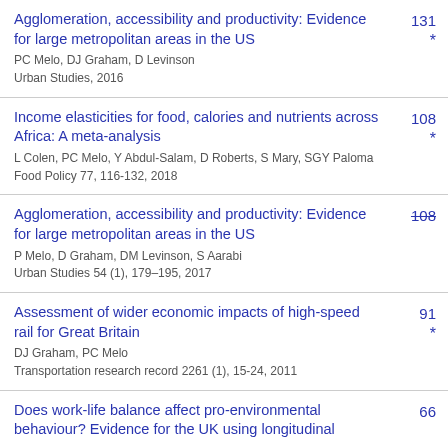Agglomeration, accessibility and productivity: Evidence for large metropolitan areas in the US
PC Melo, DJ Graham, D Levinson
Urban Studies, 2016
131 *
Income elasticities for food, calories and nutrients across Africa: A meta-analysis
L Colen, PC Melo, Y Abdul-Salam, D Roberts, S Mary, SGY Paloma
Food Policy 77, 116-132, 2018
108 *
Agglomeration, accessibility and productivity: Evidence for large metropolitan areas in the US
P Melo, D Graham, DM Levinson, S Aarabi
Urban Studies 54 (1), 179–195, 2017
108 (strikethrough)
Assessment of wider economic impacts of high-speed rail for Great Britain
DJ Graham, PC Melo
Transportation research record 2261 (1), 15-24, 2011
91 *
Does work-life balance affect pro-environmental behaviour? Evidence for the UK using longitudinal
66